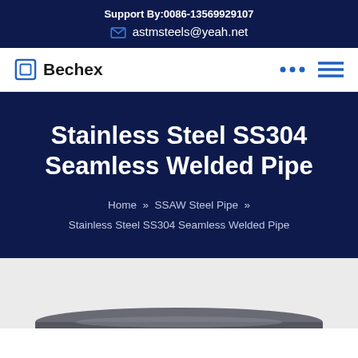Support By:0086-13569929107
astmsteels@yeah.net
Bechex
Stainless Steel SS304 Seamless Welded Pipe
Home » SSAW Steel Pipe » Stainless Steel SS304 Seamless Welded Pipe
[Figure (photo): Partial view of stainless steel pipes at the bottom of the page]